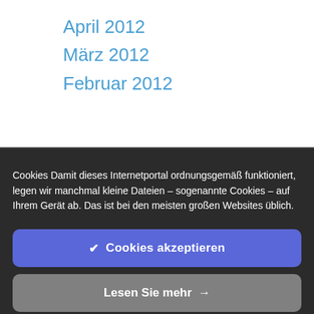April 2012
März 2012
Februar 2012
Cookies Damit dieses Internetportal ordnungsgemäß funktioniert, legen wir manchmal kleine Dateien – sogenannte Cookies – auf Ihrem Gerät ab. Das ist bei den meisten großen Websites üblich.
✔ Cookies akzeptieren
Lesen Sie mehr →
Cookies-Einstellungen ⚙